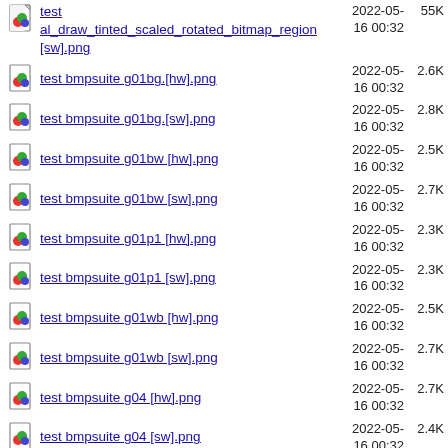test al_draw_tinted_scaled_rotated_bitmap_region[sw].png  2022-05-16 00:32  55K
test bmpsuite g01bg.[hw].png  2022-05-16 00:32  2.6K
test bmpsuite g01bg.[sw].png  2022-05-16 00:32  2.8K
test bmpsuite g01bw [hw].png  2022-05-16 00:32  2.5K
test bmpsuite g01bw [sw].png  2022-05-16 00:32  2.7K
test bmpsuite g01p1 [hw].png  2022-05-16 00:32  2.3K
test bmpsuite g01p1 [sw].png  2022-05-16 00:32  2.3K
test bmpsuite g01wb [hw].png  2022-05-16 00:32  2.5K
test bmpsuite g01wb [sw].png  2022-05-16 00:32  2.7K
test bmpsuite g04 [hw].png  2022-05-16 00:32  2.7K
test bmpsuite g04 [sw].png  2022-05-16 00:32  2.4K